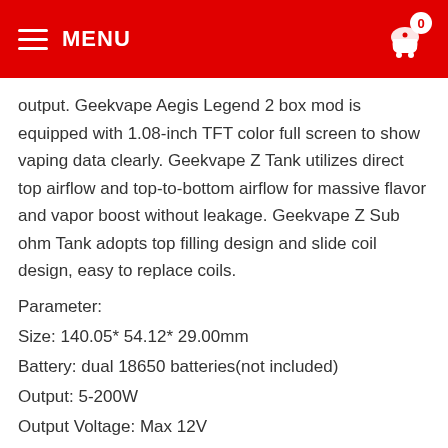MENU | 0
output. Geekvape Aegis Legend 2 box mod is equipped with 1.08-inch TFT color full screen to show vaping data clearly. Geekvape Z Tank utilizes direct top airflow and top-to-bottom airflow for massive flavor and vapor boost without leakage. Geekvape Z Sub ohm Tank adopts top filling design and slide coil design, easy to replace coils.
Parameter:
Size: 140.05* 54.12* 29.00mm
Battery: dual 18650 batteries(not included)
Output: 5-200W
Output Voltage: Max 12V